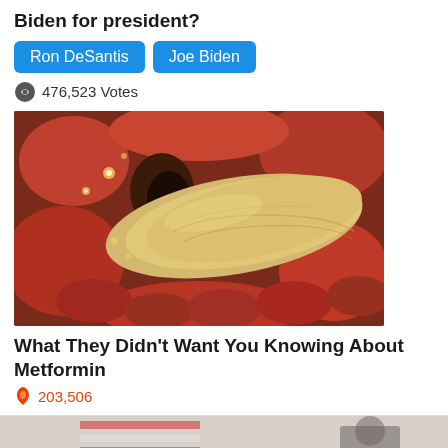Biden for president?
Ron DeSantis
Joe Biden
476,523 Votes
[Figure (photo): Medical illustration of the pancreas and surrounding organs, showing a 3D rendered view of internal abdominal anatomy with reddish-brown intestinal tissue and a pale yellowish pancreas organ in the center.]
What They Didn't Want You Knowing About Metformin
203,506
[Figure (photo): Partially visible image at the bottom of the page, appears to show a political or news scene with flag elements visible.]